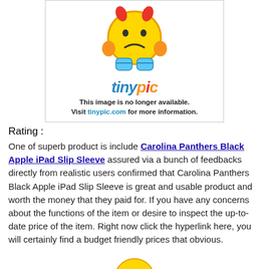[Figure (illustration): Tinypic placeholder image showing a sad emoji character with the tinypic logo and text: This image is no longer available. Visit tinypic.com for more information.]
Rating :
One of superb product is include Carolina Panthers Black Apple iPad Slip Sleeve assured via a bunch of feedbacks directly from realistic users confirmed that Carolina Panthers Black Apple iPad Slip Sleeve is great and usable product and worth the money that they paid for. If you have any concerns about the functions of the item or desire to inspect the up-to-date price of the item. Right now click the hyperlink here, you will certainly find a budget friendly prices that obvious.
[Figure (illustration): Partial view of another sad emoji character at the bottom of the page (cropped).]